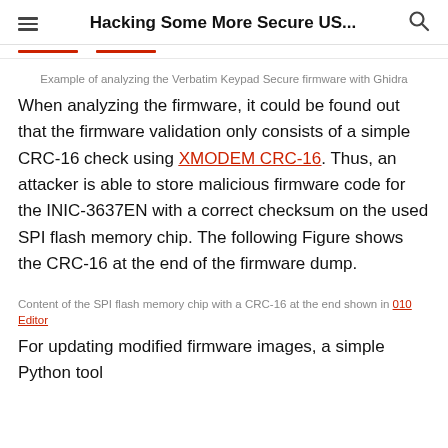Hacking Some More Secure US...
Example of analyzing the Verbatim Keypad Secure firmware with Ghidra
When analyzing the firmware, it could be found out that the firmware validation only consists of a simple CRC-16 check using XMODEM CRC-16. Thus, an attacker is able to store malicious firmware code for the INIC-3637EN with a correct checksum on the used SPI flash memory chip. The following Figure shows the CRC-16 at the end of the firmware dump.
Content of the SPI flash memory chip with a CRC-16 at the end shown in 010 Editor
For updating modified firmware images, a simple Python tool